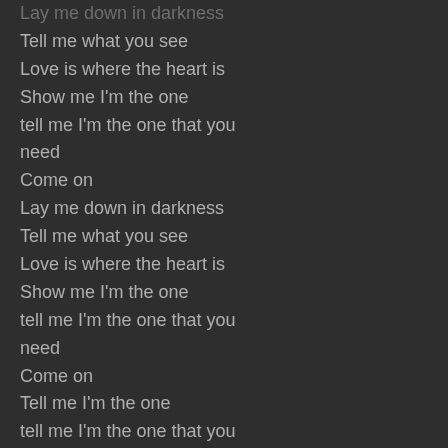Lay me down in darkness
Tell me what you see
Love is where the heart is
Show me I'm the one
tell me I'm the one that you need
Come on
Lay me down in darkness
Tell me what you see
Love is where the heart is
Show me I'm the one
tell me I'm the one that you need
Come on
Tell me I'm the one
tell me I'm the one that you need